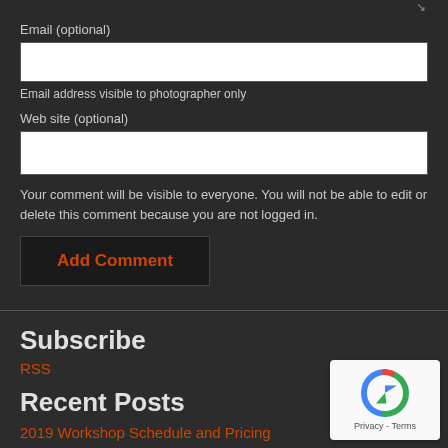Email (optional)
Email address visible to photographer only
Web site (optional)
Your comment will be visible to everyone. You will not be able to edit or delete this comment because you are not logged in.
Add Comment
Subscribe
RSS
Recent Posts
2019 Workshop Schedule and Pricing
Workshop Schedule
Up Coming Workshops
The Art of Seeing - The World is a Stage